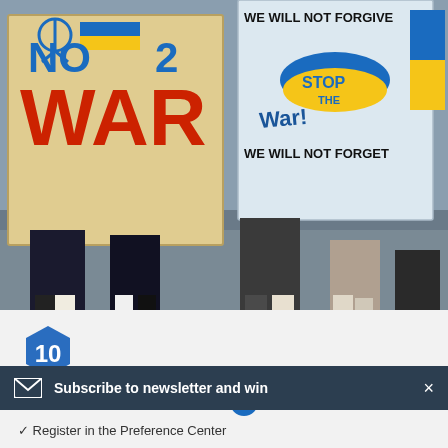[Figure (photo): Protest scene with people holding signs reading 'NO WAR' with Ukrainian flag colors and peace symbol, and another sign reading 'WE WILL NOT FORGIVE STOP THE WAR! WE WILL NOT FORGET' with map of Ukraine in blue and yellow]
10
Athletes Use their Voice for
Subscribe to newsletter and win
✓ Register in the Preference Center